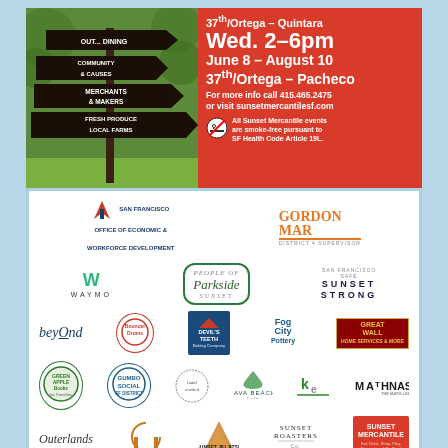[Figure (infographic): Event flyer for Sunset Mercantile outdoor market. Top red section with signpost showing Outdoor Dining, Community & Causes, Merchants & Makers, Fresh Produce, Local Farms. Event info: 37th/Ortega-Quintara, Wed. 2-6pm, June 8-August 10, 37th/Ortega-Pacheco. Contact: 415.465.2475, sunsetmercantilesf.com. Smoke-free notice per SF Health Code Article 19L. Bottom white section with sponsor logos.]
37th/Ortega – Quintara
Wed. 2–6pm
June 8 – August 10
37th/Ortega – Pacheco
For more info call 415.465.2475 or visit sunsetmercantilesf.com
All Sunset Mercantile events are smoke-free pursuant to SF Health Code Article 19L.
Outdoor Dining, Community & Causes, Merchants & Makers, Fresh Produce, Local Farms
[Figure (logo): San Francisco Office of Economic & Workforce Development logo]
[Figure (logo): Gordon Mar District 4 Supervisor logo]
[Figure (logo): Waymo logo]
[Figure (logo): Parkside Sunset logo]
[Figure (logo): Sunset Strong logo]
[Figure (logo): beyOnd logo]
[Figure (logo): Bouncer Drums logo]
[Figure (logo): Devil's Teeth Baking Company logo]
[Figure (logo): Fog City Pottery logo]
[Figure (logo): Great Wall logo]
[Figure (logo): Green Apple Books logo]
[Figure (logo): Gumbo Social logo]
[Figure (logo): Java Beach Cafe logo]
[Figure (logo): Kfit logo]
[Figure (logo): Mathnasium logo]
[Figure (logo): Outerlands logo]
[Figure (logo): Golden Gate logo]
[Figure (logo): Sunset Jiu Jitsu logo]
[Figure (logo): Sunset Roasters logo]
[Figure (logo): Sunset Mercantile logo]